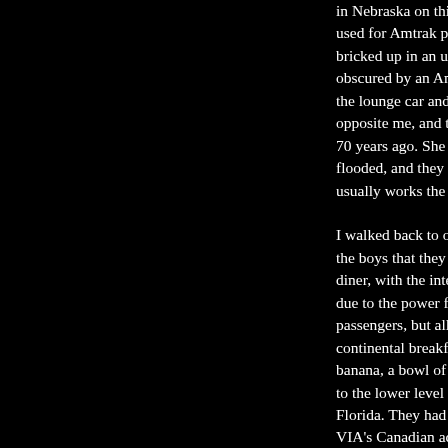in Nebraska on this tr used for Amtrak pass bricked up in an unat obscured by an Amtra the lounge car and up opposite me, and told 70 years ago. She exp flooded, and they had usually works the oth I walked back to our the boys that they we diner, with the intenti due to the power failu passengers, but all pa continental breakfast banana, a bowl of Sp to the lower level of Florida. They had cor VIA's Canadian acro from Winnipeg to Tom journey on VIA. They by Amtrak, noting tha washed-out bridge. A City during this peri